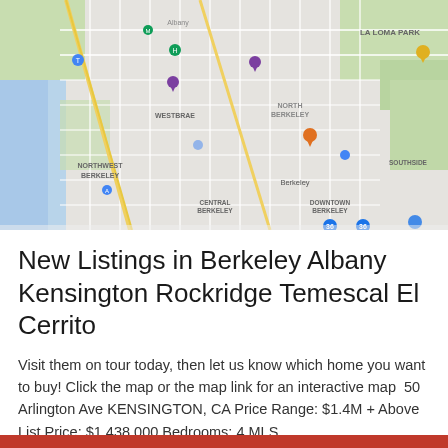[Figure (map): Google Maps view of Berkeley, Albany, Kensington area showing streets, neighborhoods labeled (Northwest Berkeley, Westbrae, North Berkeley, Downtown Berkeley, Central Berkeley, Southside, La Loma Park), with colored location pins scattered across the map.]
New Listings in Berkeley Albany Kensington Rockridge Temescal El Cerrito
Visit them on tour today, then let us know which home you want to buy! Click the map or the map link for an interactive map  50 Arlington Ave KENSINGTON, CA Price Range: $1.4M + Above List Price: $1,438,000 Bedrooms: 4 MLS